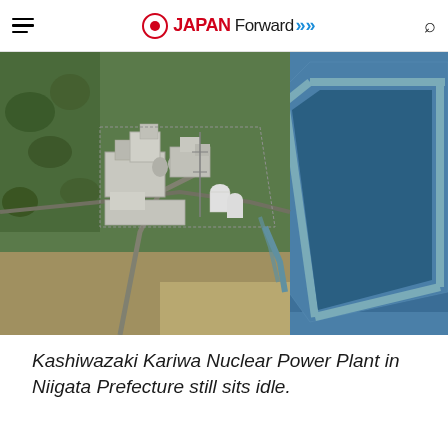JAPAN Forward
[Figure (photo): Aerial photograph of Kashiwazaki Kariwa Nuclear Power Plant in Niigata Prefecture, showing industrial facilities on the left and a large rectangular water intake/harbor structure on the right, bordered by the sea.]
Kashiwazaki Kariwa Nuclear Power Plant in Niigata Prefecture still sits idle.